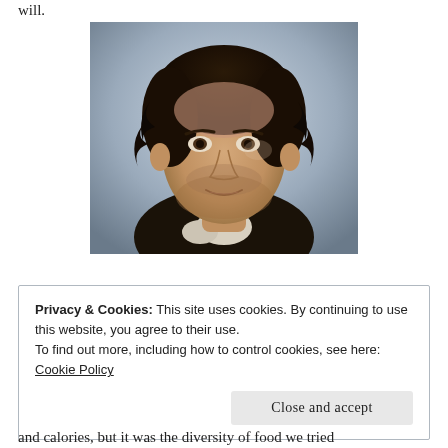will.
[Figure (photo): Portrait photograph of a young man with dark curly hair, wearing a dark high-collared period costume, looking intently at the camera with a serious expression.]
Privacy & Cookies: This site uses cookies. By continuing to use this website, you agree to their use.
To find out more, including how to control cookies, see here:
Cookie Policy

Close and accept
and calories, but it was the diversity of food we tried